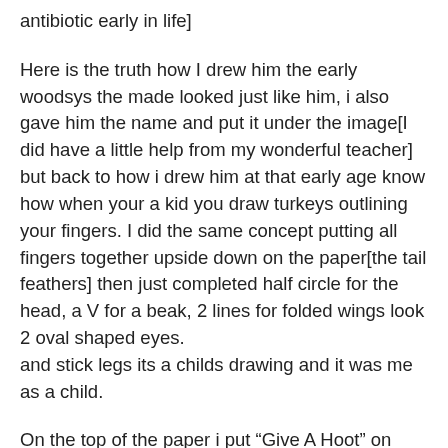antibiotic early in life]
Here is the truth how I drew him the early woodsys the made looked just like him, i also gave him the name and put it under the image[I did have a little help from my wonderful teacher] but back to how i drew him at that early age know how when your a kid you draw turkeys outlining your fingers. I did the same concept putting all fingers together upside down on the paper[the tail feathers] then just completed half circle for the head, a V for a beak, 2 lines for folded wings look 2 oval shaped eyes.
and stick legs its a childs drawing and it was me as a child.
On the top of the paper i put “Give A Hoot” on